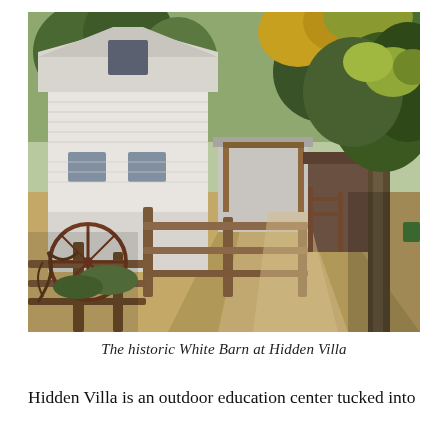[Figure (photo): Photograph of the historic White Barn at Hidden Villa. Shows a large white wooden barn building on the left with a dirt road/path running through the middle, wooden split-rail fencing in the foreground, old farm equipment, and large oak trees with green and golden foliage on the right. Dappled sunlight filters through the trees.]
The historic White Barn at Hidden Villa
Hidden Villa is an outdoor education center tucked into